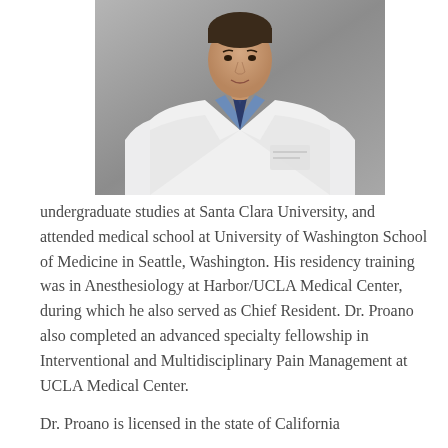[Figure (photo): Professional headshot of a male doctor wearing a white lab coat, blue collared shirt, and blue/navy striped tie, photographed against a gray background]
undergraduate studies at Santa Clara University, and attended medical school at University of Washington School of Medicine in Seattle, Washington. His residency training was in Anesthesiology at Harbor/UCLA Medical Center, during which he also served as Chief Resident. Dr. Proano also completed an advanced specialty fellowship in Interventional and Multidisciplinary Pain Management at UCLA Medical Center.
Dr. Proano is licensed in the state of California